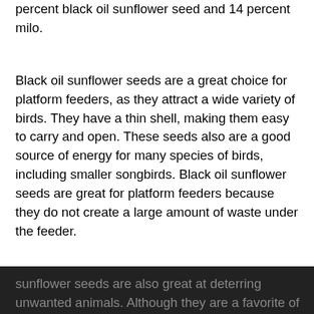percent black oil sunflower seed and 14 percent milo.
Black oil sunflower seeds are a great choice for platform feeders, as they attract a wide variety of birds. They have a thin shell, making them easy to carry and open. These seeds also are a good source of energy for many species of birds, including smaller songbirds. Black oil sunflower seeds are great for platform feeders because they do not create a large amount of waste under the feeder.
Besides providing great nutrition for birds, black oil sunflower seeds are also great at deterring unwanted animals. Although they are a favorite of